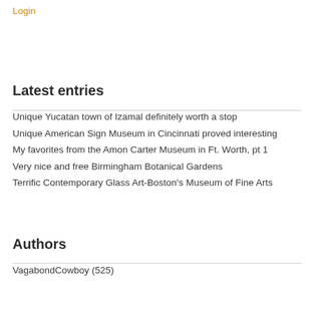Login
Latest entries
Unique Yucatan town of Izamal definitely worth a stop
Unique American Sign Museum in Cincinnati proved interesting
My favorites from the Amon Carter Museum in Ft. Worth, pt 1
Very nice and free Birmingham Botanical Gardens
Terrific Contemporary Glass Art-Boston's Museum of Fine Arts
Authors
VagabondCowboy (525)